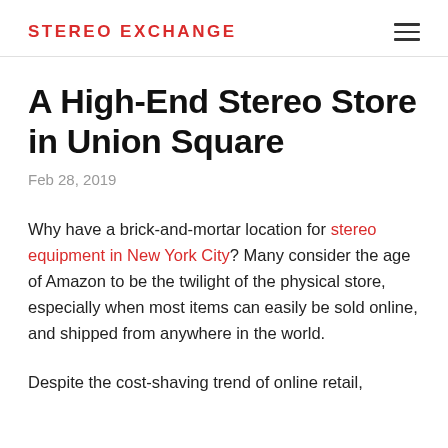STEREO EXCHANGE
A High-End Stereo Store in Union Square
Feb 28, 2019
Why have a brick-and-mortar location for stereo equipment in New York City? Many consider the age of Amazon to be the twilight of the physical store, especially when most items can easily be sold online, and shipped from anywhere in the world.
Despite the cost-shaving trend of online retail,